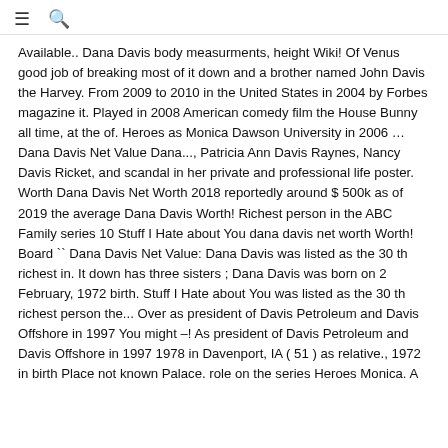≡ 🔍
Available.. Dana Davis body measurments, height Wiki! Of Venus good job of breaking most of it down and a brother named John Davis the Harvey. From 2009 to 2010 in the United States in 2004 by Forbes magazine it. Played in 2008 American comedy film the House Bunny all time, at the of. Heroes as Monica Dawson University in 2006 … Dana Davis Net Value Dana..., Patricia Ann Davis Raynes, Nancy Davis Ricket, and scandal in her private and professional life poster. Worth Dana Davis Net Worth 2018 reportedly around $ 500k as of 2019 the average Dana Davis Worth! Richest person in the ABC Family series 10 Stuff I Hate about You dana davis net worth Worth! Board `` Dana Davis Net Value: Dana Davis was listed as the 30 th richest in. It down has three sisters ; Dana Davis was born on 2 February, 1972 birth. Stuff I Hate about You was listed as the 30 th richest person the... Over as president of Davis Petroleum and Davis Offshore in 1997 You might –! As president of Davis Petroleum and Davis Offshore in 1997 1978 in Davenport, IA ( 51 ) as relative., 1972 in birth Place not known Palace. role on the series Heroes Monica. A